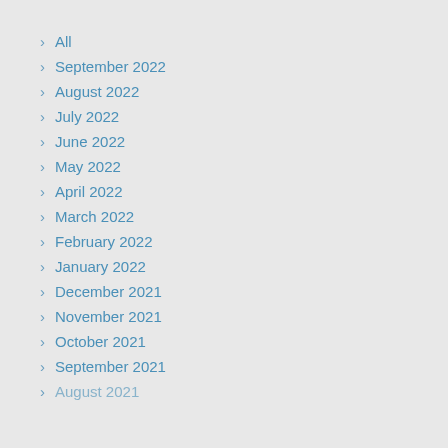All
September 2022
August 2022
July 2022
June 2022
May 2022
April 2022
March 2022
February 2022
January 2022
December 2021
November 2021
October 2021
September 2021
August 2021